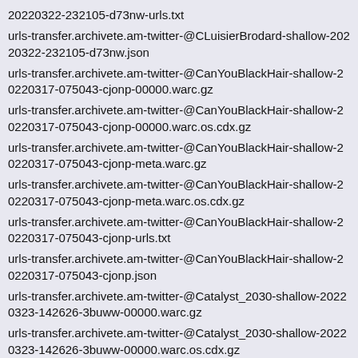20220322-232105-d73nw-urls.txt
urls-transfer.archivete.am-twitter-@CLuisierBrodard-shallow-20220322-232105-d73nw.json
urls-transfer.archivete.am-twitter-@CanYouBlackHair-shallow-20220317-075043-cjonp-00000.warc.gz
urls-transfer.archivete.am-twitter-@CanYouBlackHair-shallow-20220317-075043-cjonp-00000.warc.os.cdx.gz
urls-transfer.archivete.am-twitter-@CanYouBlackHair-shallow-20220317-075043-cjonp-meta.warc.gz
urls-transfer.archivete.am-twitter-@CanYouBlackHair-shallow-20220317-075043-cjonp-meta.warc.os.cdx.gz
urls-transfer.archivete.am-twitter-@CanYouBlackHair-shallow-20220317-075043-cjonp-urls.txt
urls-transfer.archivete.am-twitter-@CanYouBlackHair-shallow-20220317-075043-cjonp.json
urls-transfer.archivete.am-twitter-@Catalyst_2030-shallow-20220323-142626-3buww-00000.warc.gz
urls-transfer.archivete.am-twitter-@Catalyst_2030-shallow-20220323-142626-3buww-00000.warc.os.cdx.gz
urls-transfer.archivete.am-twitter-@Catalyst_2030-shallow-20220323-142626-3buww-meta.warc.gz